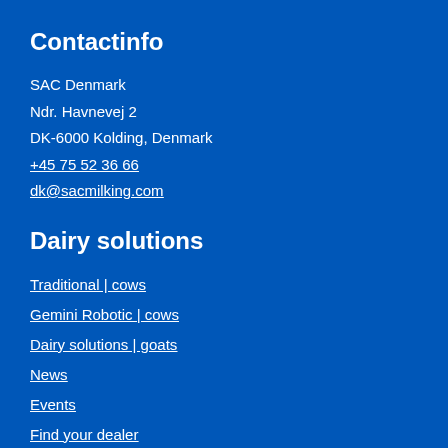Contactinfo
SAC Denmark
Ndr. Havnevej 2
DK-6000 Kolding, Denmark
+45 75 52 36 66
dk@sacmilking.com
Dairy solutions
Traditional | cows
Gemini Robotic | cows
Dairy solutions | goats
News
Events
Find your dealer
About SAC